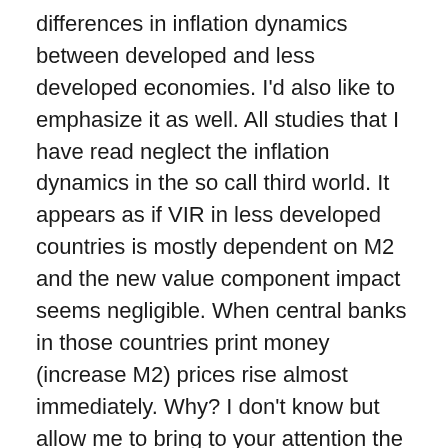differences in inflation dynamics between developed and less developed economies. I'd also like to emphasize it as well. All studies that I have read neglect the inflation dynamics in the so call third world. It appears as if VIR in less developed countries is mostly dependent on M2 and the new value component impact seems negligible. When central banks in those countries print money (increase M2) prices rise almost immediately. Why? I don't know but allow me to bring to your attention the two departments 1 and 2 in capitalism. In advanced economies department 1 goods are both produced and consumed in those countries whereas in less developed countries it is mostly the consumption not so much production of capital goods. Department 1 goods are mostly imported from advanced economies. OCC of less developed tend to always be below those